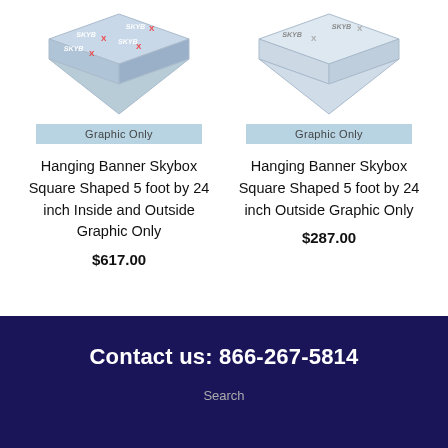[Figure (illustration): Hanging Banner Skybox Square Shaped product image showing a square frame with SKYBOX branding graphics on all sides, viewed from perspective angle]
Graphic Only
Hanging Banner Skybox Square Shaped 5 foot by 24 inch Inside and Outside Graphic Only
$617.00
[Figure (illustration): Hanging Banner Skybox Square Shaped product image showing a plain white/light square frame, viewed from perspective angle]
Graphic Only
Hanging Banner Skybox Square Shaped 5 foot by 24 inch Outside Graphic Only
$287.00
Contact us: 866-267-5814
Search